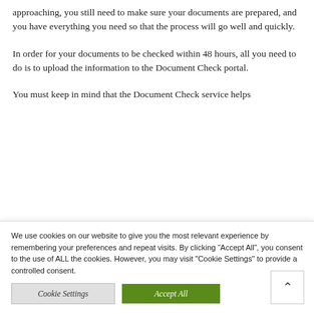approaching, you still need to make sure your documents are prepared, and you have everything you need so that the process will go well and quickly.
In order for your documents to be checked within 48 hours, all you need to do is to upload the information to the Document Check portal.
You must keep in mind that the Document Check service helps
We use cookies on our website to give you the most relevant experience by remembering your preferences and repeat visits. By clicking “Accept All”, you consent to the use of ALL the cookies. However, you may visit "Cookie Settings" to provide a controlled consent.